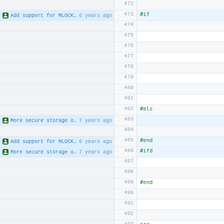Code blame view showing lines 472-494 of a source file with git blame annotations
| Blame | Line | Code |
| --- | --- | --- |
|  | 472 |  |
| Add support for MLOCK_ONFAULT to… 6 years ago | 473 | #if |
|  | 474 |  |
|  | 475 |  |
|  | 476 |  |
|  | 477 |  |
|  | 478 |  |
|  | 479 |  |
|  | 480 |  |
|  | 481 |  |
|  | 482 | #els |
| More secure storage of key mater… 7 years ago | 483 |  |
|  | 484 |  |
| Add support for MLOCK_ONFAULT to… 6 years ago | 485 | #end |
| More secure storage of key mater… 7 years ago | 486 | #ifd |
|  | 487 |  |
|  | 488 |  |
|  | 489 | #end |
|  | 490 |  |
|  | 491 |  |
|  | 492 |  |
|  | 493 | err |
|  | 494 |  |